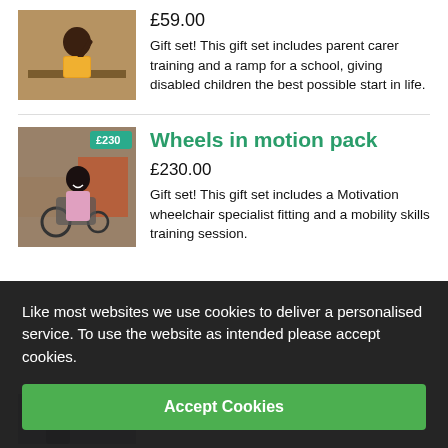[Figure (photo): Child in yellow shirt sitting at school desk, raising hand]
£59.00
Gift set! This gift set includes parent carer training and a ramp for a school, giving disabled children the best possible start in life.
[Figure (photo): Woman in wheelchair smiling outdoors, badge showing £230]
Wheels in motion pack
£230.00
Gift set! This gift set includes a Motivation wheelchair specialist fitting and a mobility skills training session.
Like most websites we use cookies to deliver a personalised service. To use the website as intended please accept cookies.
Accept Cookies
[Figure (photo): Person with glasses, badge showing £40]
Wheelchair fitting